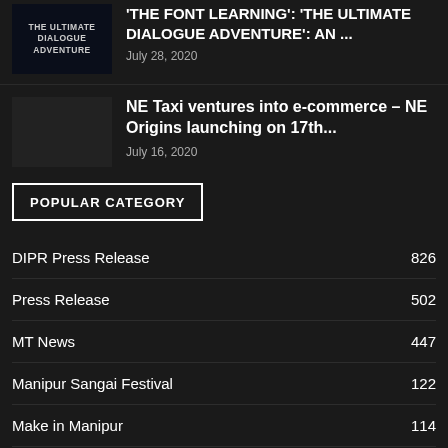'THE FONT LEARNING': 'THE ULTIMATE DIALOGUE ADVENTURE': AN ...
July 28, 2020
NE Taxi ventures into e-commerce – NE Origins launching on 17th...
July 16, 2020
POPULAR CATEGORY
DIPR Press Release 826
Press Release 502
MT News 447
Manipur Sangai Festival 122
Make in Manipur 114
Event Announcement 95
Media Partner 83